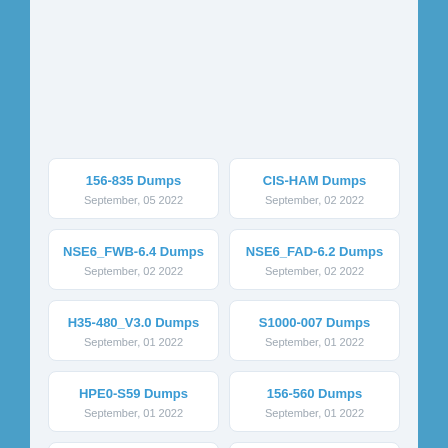156-835 Dumps
September, 05 2022
CIS-HAM Dumps
September, 02 2022
NSE6_FWB-6.4 Dumps
September, 02 2022
NSE6_FAD-6.2 Dumps
September, 02 2022
H35-480_V3.0 Dumps
September, 01 2022
S1000-007 Dumps
September, 01 2022
HPE0-S59 Dumps
September, 01 2022
156-560 Dumps
September, 01 2022
ITIL-4-Transition Dumps
August, 26 2022
CIMAPRA19-F03-1 Dumps
August, 26 2022